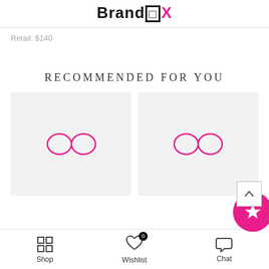BrandBOX
Retail: $140
RECOMMENDED FOR YOU
[Figure (other): Two product placeholder cards side by side, each with a pink infinity-style logo watermark on light gray background]
Shop | Wishlist (0) | Chat